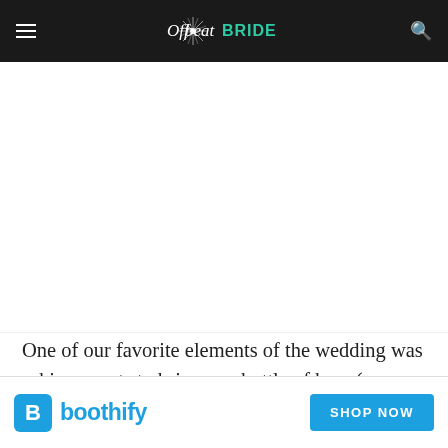Offbeat Bride
[Figure (photo): White/blank image area below the header navigation bar]
One of our favorite elements of the wedding was asking guests to bring one bottle of beer (any size, any style) with [...] of a "chan[...]
[Figure (other): Advertisement banner for Boothify with logo and SHOP NOW button]